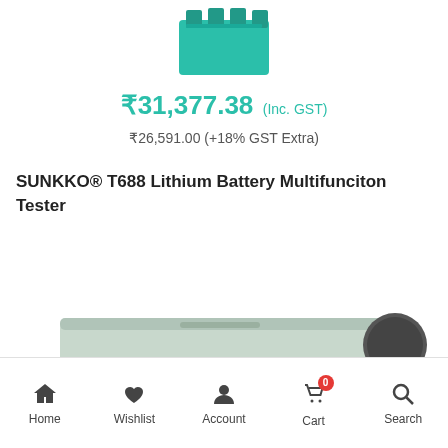[Figure (photo): Top portion of a teal/green colored SUNKKO T688 battery tester device, showing the top connectors]
₹31,377.38 (Inc. GST)
₹26,591.00 (+18% GST Extra)
SUNKKO® T688 Lithium Battery Multifunciton Tester
[Figure (photo): Bottom portion of the SUNKKO T688 device showing the flat body of the tester]
Home   Wishlist   Account   Cart 0   Search